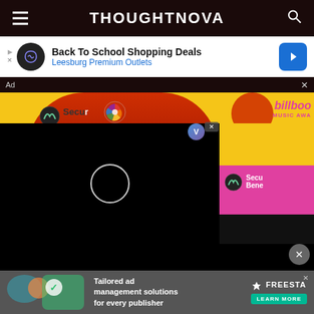THOUGHTNOVA
[Figure (screenshot): Advertisement banner: Back To School Shopping Deals - Leesburg Premium Outlets]
Ad  ×
[Figure (photo): Billboard Music Awards red carpet photo with video overlay loading spinner, person in red outfit against yellow background]
[Figure (screenshot): Bottom advertisement: Tailored ad management solutions for every publisher - FREESTA - LEARN MORE]